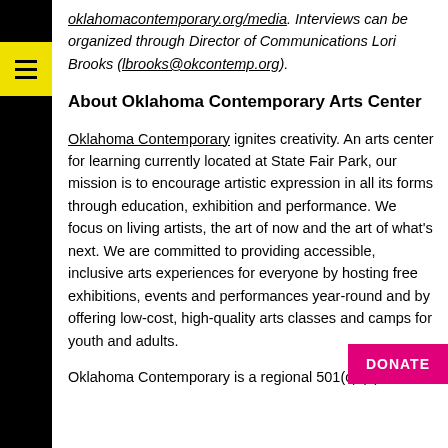oklahomacontemporary.org/media. Interviews can be organized through Director of Communications Lori Brooks (lbrooks@okcontemp.org).
About Oklahoma Contemporary Arts Center
Oklahoma Contemporary ignites creativity. An arts center for learning currently located at State Fair Park, our mission is to encourage artistic expression in all its forms through education, exhibition and performance. We focus on living artists, the art of now and the art of what's next. We are committed to providing accessible, inclusive arts experiences for everyone by hosting free exhibitions, events and performances year-round and by offering low-cost, high-quality arts classes and camps for youth and adults.
Oklahoma Contemporary is a regional 501(c) (3)